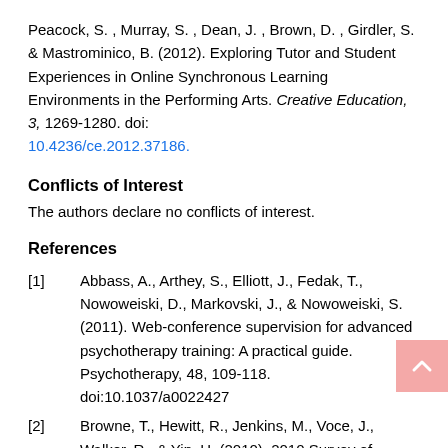Peacock, S. , Murray, S. , Dean, J. , Brown, D. , Girdler, S. & Mastrominico, B. (2012). Exploring Tutor and Student Experiences in Online Synchronous Learning Environments in the Performing Arts. Creative Education, 3, 1269-1280. doi: 10.4236/ce.2012.37186.
Conflicts of Interest
The authors declare no conflicts of interest.
References
[1] Abbass, A., Arthey, S., Elliott, J., Fedak, T., Nowoweiski, D., Markovski, J., & Nowoweiski, S. (2011). Web-conference supervision for advanced psychotherapy training: A practical guide. Psychotherapy, 48, 109-118. doi:10.1037/a0022427
[2] Browne, T., Hewitt, R., Jenkins, M., Voce, J., Walker, R., & Yip, H. (2010). 2010 Survey of technology enhanced learning for higher education in the UK. URL (last checked